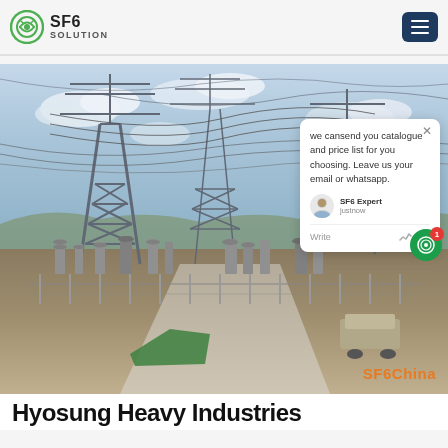SF6 SOLUTION
[Figure (photo): Outdoor high-voltage electrical substation with steel lattice towers, transmission lines, insulators, and equipment on a concrete yard. Blue sky with clouds in background. A chat popup overlay is visible in the upper right of the image with text: 'we cansend you catalogue and price list for you choosing. Leave us your email or whatsapp.' with SF6 Expert agent avatar and 'justnow' timestamp. SF6China watermark in orange at bottom right.]
Hyosung Heavy Industries